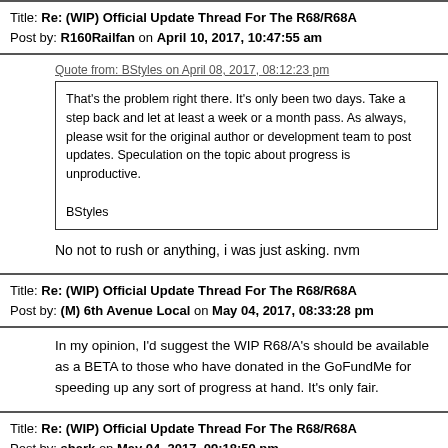Title: Re: (WIP) Official Update Thread For The R68/R68A
Post by: R160Railfan on April 10, 2017, 10:47:55 am
Quote from: BStyles on April 08, 2017, 08:12:23 pm
That's the problem right there. It's only been two days. Take a step back and let at least a week or a month pass. As always, please wsit for the original author or development team to post updates. Speculation on the topic about progress is unproductive.

BStyles
No not to rush or anything, i was just asking. nvm
Title: Re: (WIP) Official Update Thread For The R68/R68A
Post by: (M) 6th Avenue Local on May 04, 2017, 08:33:28 pm
In my opinion, I'd suggest the WIP R68/A's should be available as a BETA to those who have donated in the GoFundMe for speeding up any sort of progress at hand. It's only fair.
Title: Re: (WIP) Official Update Thread For The R68/R68A
Post by: shark on May 04, 2017, 09:18:59 pm
Good point